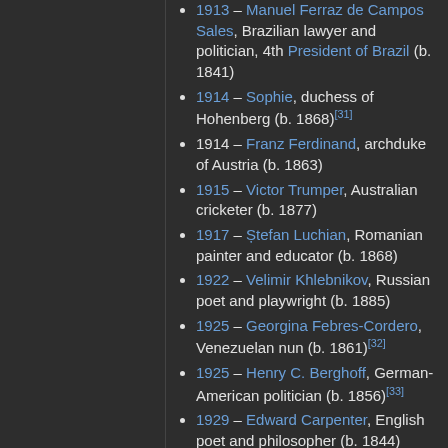1913 – Manuel Ferraz de Campos Sales, Brazilian lawyer and politician, 4th President of Brazil (b. 1841)
1914 – Sophie, duchess of Hohenberg (b. 1868)[31]
1914 – Franz Ferdinand, archduke of Austria (b. 1863)
1915 – Victor Trumper, Australian cricketer (b. 1877)
1917 – Ștefan Luchian, Romanian painter and educator (b. 1868)
1922 – Velimir Khlebnikov, Russian poet and playwright (b. 1885)
1925 – Georgina Febres-Cordero, Venezuelan nun (b. 1861)[32]
1925 – Henry C. Berghoff, German-American politician (b. 1856)[33]
1929 – Edward Carpenter, English poet and philosopher (b. 1844)